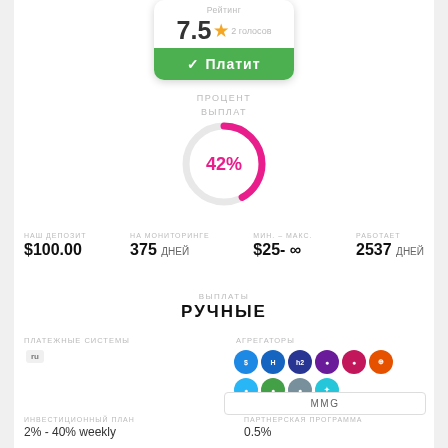[Figure (infographic): Rating box showing 7.5 star rating with 2 votes and green 'Платит' (Pays) button]
ПРОЦЕНТ ВЫПЛАТ
[Figure (donut-chart): 42%]
НАШ ДЕПОЗИТ $100.00
НА МОНИТОРИНГЕ 375 ДНЕЙ
МИН. - МАКС. $25- ∞
РАБОТАЕТ 2537 ДНЕЙ
ВЫПЛАТЫ
РУЧНЫЕ
ПЛАТЕЖНЫЕ СИСТЕМЫ
АГРЕГАТОРЫ
[Figure (infographic): Payment system icon (ru) and aggregator colored circle icons]
MMG
ИНВЕСТИЦИОННЫЙ ПЛАН
2% - 40% weekly
ПАРТНЕРСКАЯ ПРОГРАММА
0.5%